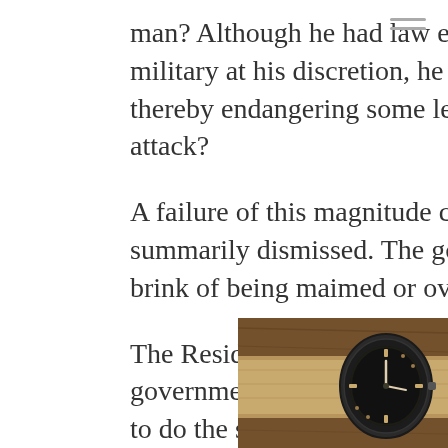man? Although he had law enforcement and the military at his discretion, he still did not deploy them, thereby endangering some legislature's lives during the attack?
A failure of this magnitude cannot be exaggerated or summarily dismissed. The government was on the brink of being maimed or overthrown.
The Resident can admonish and sanction the Chinese government over Hong Kong, but he does or threatens to do the same in a democracy. At least they admit to authoritarian rule. As the bigoted puppet master's anxiety level escalates over the end of his term, so did his desperation and
[Figure (photo): A vintage military-style wristwatch with a dark dial on a tan/olive NATO strap, photographed on a wooden surface]